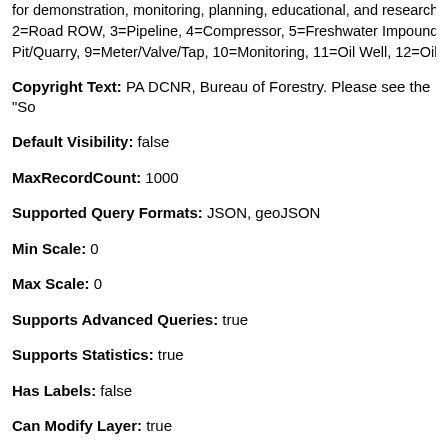for demonstration, monitoring, planning, educational, and research 2=Road ROW, 3=Pipeline, 4=Compressor, 5=Freshwater Impoundr Pit/Quarry, 9=Meter/Valve/Tap, 10=Monitoring, 11=Oil Well, 12=Oil
Copyright Text: PA DCNR, Bureau of Forestry. Please see the "So
Default Visibility: false
MaxRecordCount: 1000
Supported Query Formats: JSON, geoJSON
Min Scale: 0
Max Scale: 0
Supports Advanced Queries: true
Supports Statistics: true
Has Labels: false
Can Modify Layer: true
Can Scale Symbols: false
Use Standardized Queries: true
Supports Datum Transformation: true